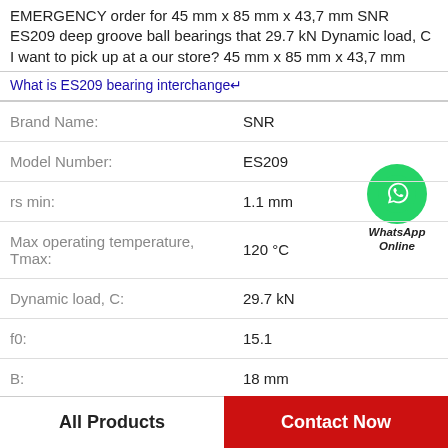EMERGENCY order for 45 mm x 85 mm x 43,7 mm SNR ES209 deep groove ball bearings that 29.7 kN Dynamic load, C I want to pick up at a our store? 45 mm x 85 mm x 43,7 mm
What is ES209 bearing interchange↵
| Label | Value |
| --- | --- |
| Brand Name: | SNR |
| Model Number: | ES209 |
| rs min: | 1.1 mm |
| Max operating temperature, Tmax: | 120 °C |
| Dynamic load, C: | 29.7 kN |
| f0: | 15.1 |
| B: | 18 mm |
[Figure (logo): WhatsApp Online green circle icon with phone handset and label 'WhatsApp Online']
All Products
Contact Now